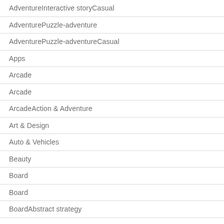AdventureInteractive storyCasual
AdventurePuzzle-adventure
AdventurePuzzle-adventureCasual
Apps
Arcade
Arcade
ArcadeAction & Adventure
Art & Design
Auto & Vehicles
Beauty
Board
Board
BoardAbstract strategy